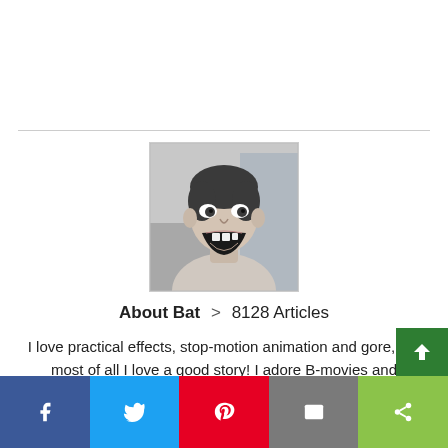[Figure (photo): Black and white photo of a screaming person, reminiscent of a horror movie still (Psycho-style), used as a profile avatar image.]
About Bat > 8128 Articles
I love practical effects, stop-motion animation and gore, but most of all I love a good story! I adore B-movies and exploitation films in many of their guises and also h...
[Figure (infographic): Social sharing bar at bottom with Facebook, Twitter, Pinterest, Email, and Share buttons in their respective brand colors.]